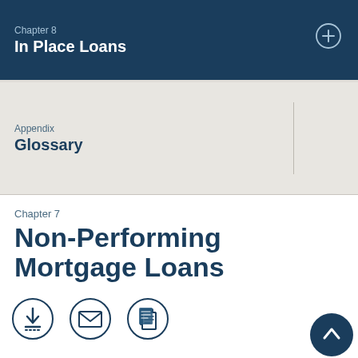Chapter 8
In Place Loans
Appendix
Glossary
Chapter 7
Non-Performing Mortgage Loans
[Figure (illustration): Three circular icon buttons: download (arrow pointing down into a tray), email (envelope), and copy/document (overlapping pages)]
[Figure (illustration): Dark navy circular back-to-top button with upward chevron arrow]